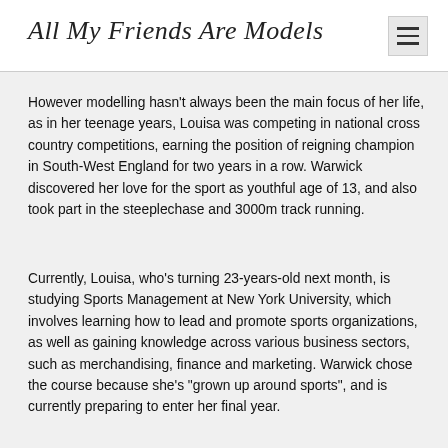All My Friends Are Models
However modelling hasn't always been the main focus of her life, as in her teenage years, Louisa was competing in national cross country competitions, earning the position of reigning champion in South-West England for two years in a row. Warwick discovered her love for the sport as youthful age of 13, and also took part in the steeplechase and 3000m track running.
Currently, Louisa, who's turning 23-years-old next month, is studying Sports Management at New York University, which involves learning how to lead and promote sports organizations, as well as gaining knowledge across various business sectors, such as merchandising, finance and marketing. Warwick chose the course because she's "grown up around sports", and is currently preparing to enter her final year.